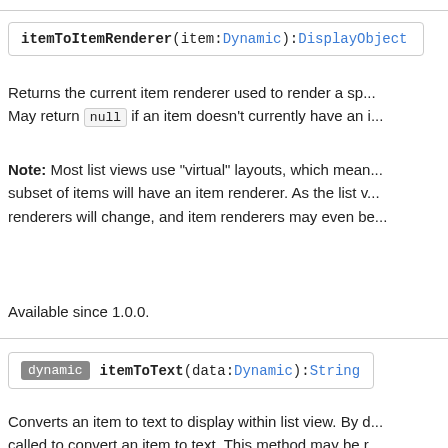itemToItemRenderer(item:Dynamic):DisplayObject
Returns the current item renderer used to render a sp... May return null if an item doesn't currently have an i...
Note: Most list views use "virtual" layouts, which mean... subset of items will have an item renderer. As the list v... renderers will change, and item renderers may even be...
Available since 1.0.0.
dynamic itemToText(data:Dynamic):String
Converts an item to text to display within list view. By d... called to convert an item to text. This method may be r...
For example, consider the following item: